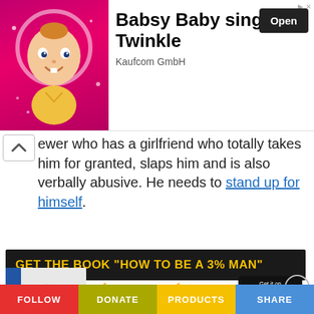[Figure (screenshot): Ad banner for 'Babsy Baby singing Twinkle' by Kaufcom GmbH with an animated baby image, Open button, and navigation arrow]
ewer who has a girlfriend who totally takes him for granted, slaps him and is also verbally abusive. He needs to stand up for himself.
[Figure (infographic): Dark banner reading GET THE BOOK "HOW TO BE A 3% MAN"]
[Figure (photo): Audiobook cover image with earbuds, blue sidebar with 'audiobook' label]
[Figure (logo): Two Audible logos and iTunes Get it on button, plus scroll-down circle button]
FOLLOW   DONATE   PRODUCTS   SHARE